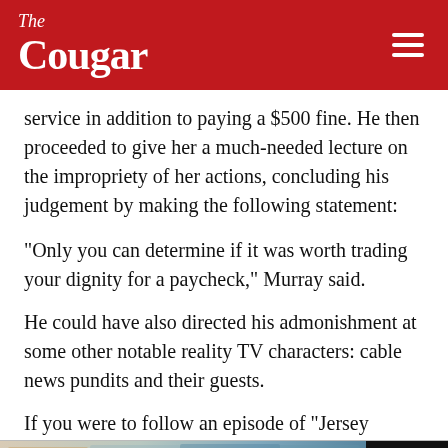The Cougar
service in addition to paying a $500 fine. He then proceeded to give her a much-needed lecture on the impropriety of her actions, concluding his judgement by making the following statement:
“Only you can determine if it was worth trading your dignity for a paycheck,” Murray said.
He could have also directed his admonishment at some other notable reality TV characters: cable news pundits and their guests.
If you were to follow an episode of “Jersey
[Figure (photo): Advertisement banner for neo apartments showing people and building]
ation place for artificial tensions. “All arise